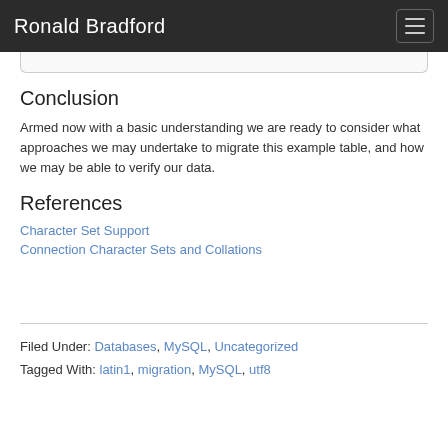Ronald Bradford
Conclusion
Armed now with a basic understanding we are ready to consider what approaches we may undertake to migrate this example table, and how we may be able to verify our data.
References
Character Set Support
Connection Character Sets and Collations
Filed Under: Databases, MySQL, Uncategorized
Tagged With: latin1, migration, MySQL, utf8